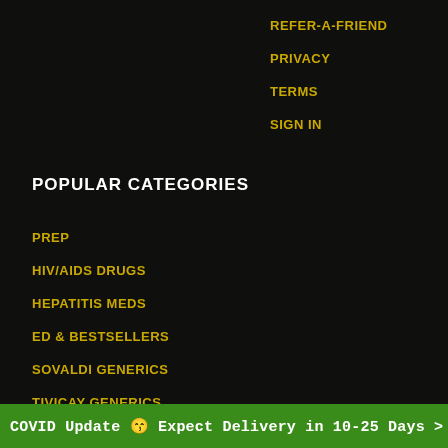REFER-A-FRIEND
PRIVACY
TERMS
SIGN IN
POPULAR CATEGORIES
PREP
HIV/AIDS DRUGS
HEPATITIS MEDS
ED & BESTSELLERS
SOVALDI GENERICS
TIVICAY GENERICS
TRUVADA GENERICS
EM + TENOFOVIR DF
COVID Update 😩 Expect Delivery in 10-25 Days >